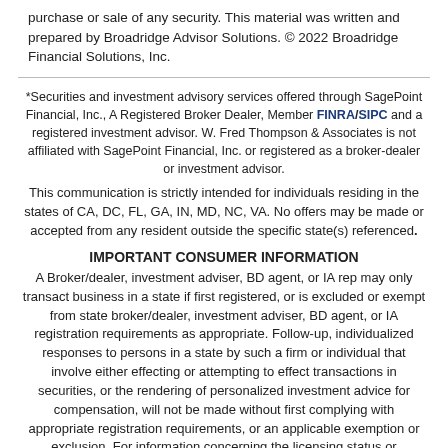purchase or sale of any security. This material was written and prepared by Broadridge Advisor Solutions. © 2022 Broadridge Financial Solutions, Inc.
*Securities and investment advisory services offered through SagePoint Financial, Inc., A Registered Broker Dealer, Member FINRA/SIPC and a registered investment advisor. W. Fred Thompson & Associates is not affiliated with SagePoint Financial, Inc. or registered as a broker-dealer or investment advisor.
This communication is strictly intended for individuals residing in the states of CA, DC, FL, GA, IN, MD, NC, VA. No offers may be made or accepted from any resident outside the specific state(s) referenced.
IMPORTANT CONSUMER INFORMATION
A Broker/dealer, investment adviser, BD agent, or IA rep may only transact business in a state if first registered, or is excluded or exempt from state broker/dealer, investment adviser, BD agent, or IA registration requirements as appropriate. Follow-up, individualized responses to persons in a state by such a firm or individual that involve either effecting or attempting to effect transactions in securities, or the rendering of personalized investment advice for compensation, will not be made without first complying with appropriate registration requirements, or an applicable exemption or exclusion. For information concerning the licensing status or disciplinary history of a